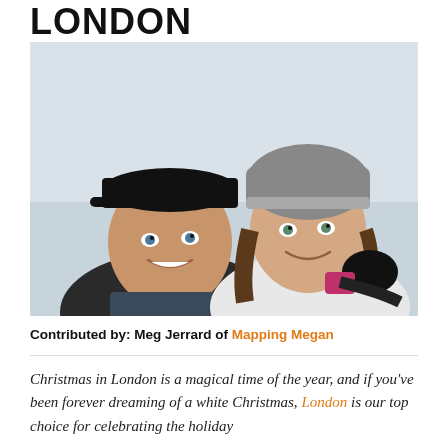LONDON
[Figure (photo): A smiling couple in winter clothing outdoors in a snowy setting. The man on the left wears a black baseball cap and dark jacket; the woman on the right wears a grey knit beanie and white jacket with black gloves.]
Contributed by: Meg Jerrard of Mapping Megan
Christmas in London is a magical time of the year, and if you've been forever dreaming of a white Christmas, London is our top choice for celebrating the holiday